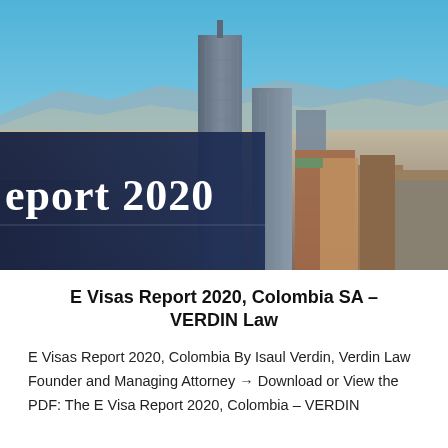[Figure (photo): Aerial cityscape photograph of Bogotá, Colombia showing modern glass skyscrapers against a blue sky with mountains and dense urban development in the background. A dark navy overlay panel on the left side shows partial text 'eport 2020' in large white serif font.]
E Visas Report 2020, Colombia SA – VERDIN Law
E Visas Report 2020, Colombia By Isaul Verdin, Verdin Law Founder and Managing Attorney → Download or View the PDF: The E Visa Report 2020, Colombia – VERDIN